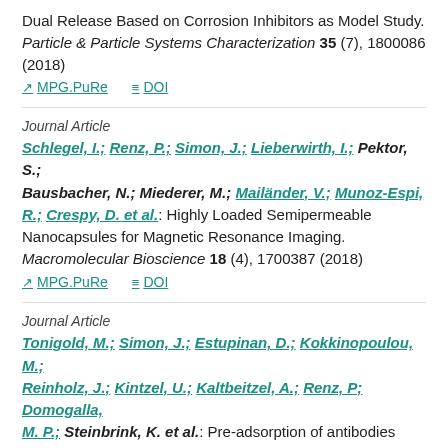Dual Release Based on Corrosion Inhibitors as Model Study. Particle & Particle Systems Characterization 35 (7), 1800086 (2018)
MPG.PuRe   DOI
Journal Article
Schlegel, I.; Renz, P.; Simon, J.; Lieberwirth, I.; Pektor, S.; Bausbacher, N.; Miederer, M.; Mailänder, V.; Munoz-Espi, R.; Crespy, D. et al.: Highly Loaded Semipermeable Nanocapsules for Magnetic Resonance Imaging. Macromolecular Bioscience 18 (4), 1700387 (2018)
MPG.PuRe   DOI
Journal Article
Tonigold, M.; Simon, J.; Estupinan, D.; Kokkinopoulou, M.; Reinholz, J.; Kintzel, U.; Kaltbeitzel, A.; Renz, P; Domogalla, M. P.; Steinbrink, K. et al.: Pre-adsorption of antibodies enables targeting of nanocarriers despite a biomolecular